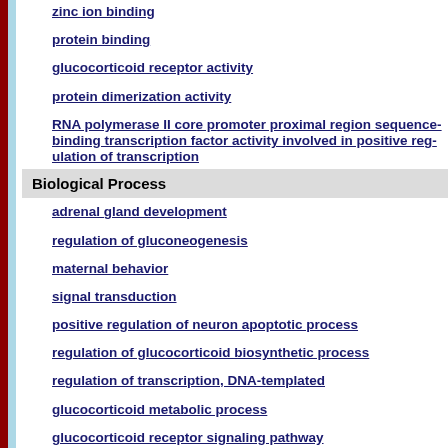zinc ion binding
protein binding
glucocorticoid receptor activity
protein dimerization activity
RNA polymerase II core promoter proximal region sequence-binding transcription factor activity involved in positive regulation of transcription
Biological Process
adrenal gland development
regulation of gluconeogenesis
maternal behavior
signal transduction
positive regulation of neuron apoptotic process
regulation of glucocorticoid biosynthetic process
regulation of transcription, DNA-templated
glucocorticoid metabolic process
glucocorticoid receptor signaling pathway